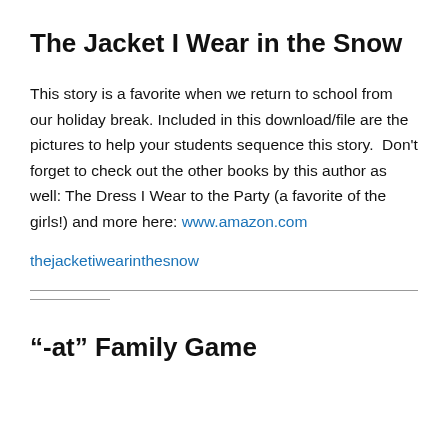The Jacket I Wear in the Snow
This story is a favorite when we return to school from our holiday break. Included in this download/file are the pictures to help your students sequence this story.  Don't forget to check out the other books by this author as well: The Dress I Wear to the Party (a favorite of the girls!) and more here: www.amazon.com
thejacketiwearinthesnow
“-at” Family Game